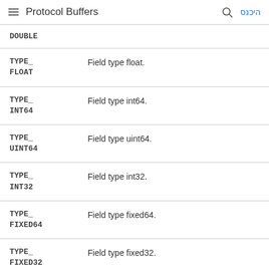Protocol Buffers
| Name | Description |
| --- | --- |
| DOUBLE |  |
| TYPE_FLOAT | Field type float. |
| TYPE_INT64 | Field type int64. |
| TYPE_UINT64 | Field type uint64. |
| TYPE_INT32 | Field type int32. |
| TYPE_FIXED64 | Field type fixed64. |
| TYPE_FIXED32 | Field type fixed32. |
| TYPE_BOOL | Field type bool. |